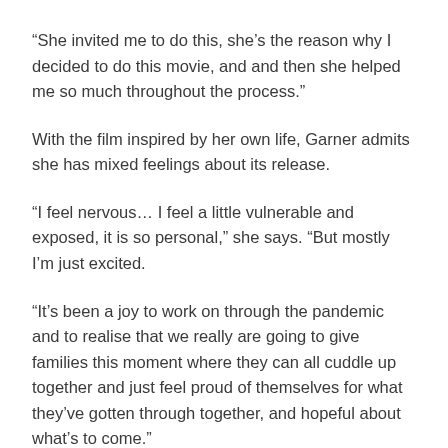“She invited me to do this, she’s the reason why I decided to do this movie, and and then she helped me so much throughout the process.”
With the film inspired by her own life, Garner admits she has mixed feelings about its release.
“I feel nervous… I feel a little vulnerable and exposed, it is so personal,” she says. “But mostly I’m just excited.
“It’s been a joy to work on through the pandemic and to realise that we really are going to give families this moment where they can all cuddle up together and just feel proud of themselves for what they’ve gotten through together, and hopeful about what’s to come.”